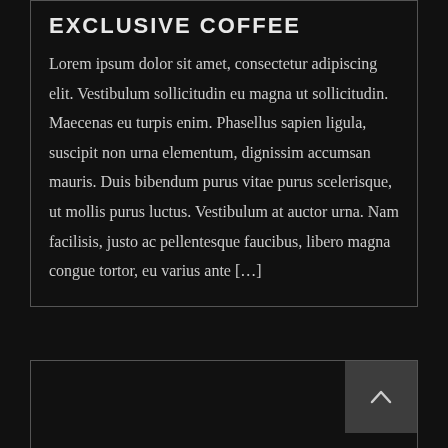EXCLUSIVE COFFEE
Lorem ipsum dolor sit amet, consectetur adipiscing elit. Vestibulum sollicitudin eu magna ut sollicitudin. Maecenas eu turpis enim. Phasellus sapien ligula, suscipit non urna elementum, dignissim accumsan mauris. Duis bibendum purus vitae purus scelerisque, ut mollis purus luctus. Vestibulum at auctor urna. Nam facilisis, justo ac pellentesque faucibus, libero magna congue tortor, eu varius ante [...]
[Figure (other): A card panel with an up/back-to-top arrow button in the top-right corner, dark background]